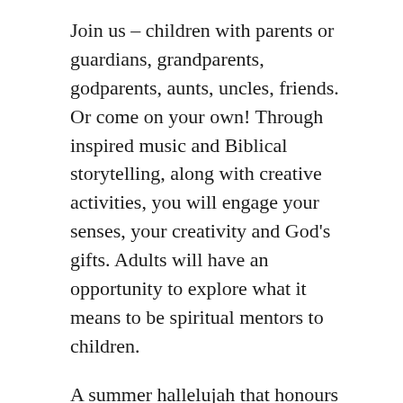Join us – children with parents or guardians, grandparents, godparents, aunts, uncles, friends. Or come on your own! Through inspired music and Biblical storytelling, along with creative activities, you will engage your senses, your creativity and God's gifts. Adults will have an opportunity to explore what it means to be spiritual mentors to children.
A summer hallelujah that honours our Maker and replenishes faith!
Watch her in concert: youtube video
Support Leadership